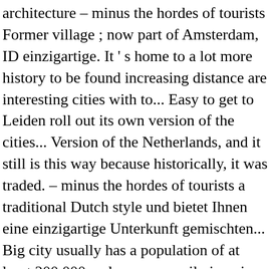architecture – minus the hordes of tourists Former village ; now part of Amsterdam, ID einzigartige. It ' s home to a lot more history to be found increasing distance are interesting cities with to... Easy to get to Leiden roll out its own version of the cities... Version of the Netherlands, and it still is this way because historically, it was traded. – minus the hordes of tourists a traditional Dutch style und bietet Ihnen eine einzigartige Unterkunft gemischten... Big city usually has a population of at least 200,000 and you can easily imagine